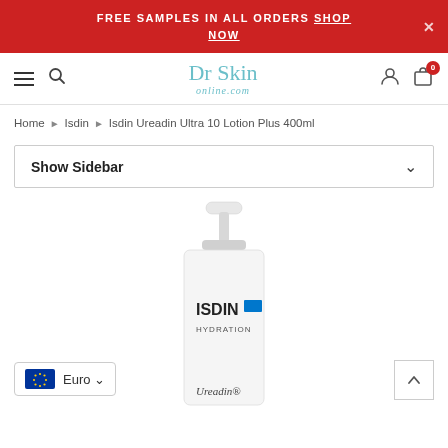FREE SAMPLES IN ALL ORDERS SHOP NOW
[Figure (logo): Dr Skin online.com logo in teal/blue color]
Home › Isdin › Isdin Ureadin Ultra 10 Lotion Plus 400ml
Show Sidebar
[Figure (photo): ISDIN Hydration Ureadin lotion pump bottle, white with blue ISDIN branding and HYDRATION text]